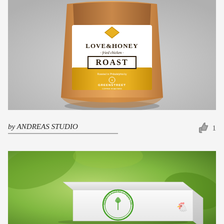[Figure (photo): A kraft paper stand-up pouch with a white and yellow label reading 'LOVE & HONEY fried chicken ROAST' with Greenstreet Coffee Roasters branding, on a gray background.]
by ANDREAS STUDIO
[Figure (photo): A white cardboard box with a green circular logo reading 'Nutritious Food for a Happy Chicken' on a blurred green natural background.]